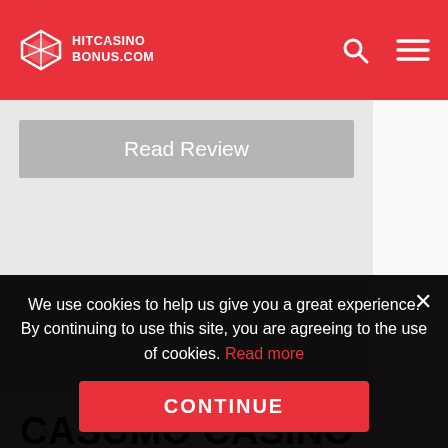HITCASINOBONUS.COM
Read Review
CASUMO CASINO
As one of the first casinos that popularized the concept of 'gamification', Casumo Casino offers an exciting set of casino games, promotions and yes, some of the
We use cookies to help us give you a great experience. By continuing to use this site, you are agreeing to the use of cookies. Read more
CONTINUE